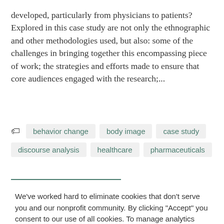developed, particularly from physicians to patients? Explored in this case study are not only the ethnographic and other methodologies used, but also: some of the challenges in bringing together this encompassing piece of work; the strategies and efforts made to ensure that core audiences engaged with the research;...
behavior change
body image
case study
discourse analysis
healthcare
pharmaceuticals
We've worked hard to eliminate cookies that don't serve you and our nonprofit community. By clicking "Accept" you consent to our use of all cookies. To manage analytics and social cookies, click "Settings."